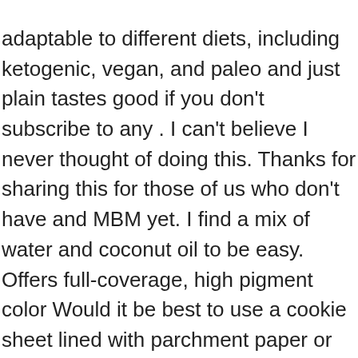adaptable to different diets, including ketogenic, vegan, and paleo and just plain tastes good if you don't subscribe to any . I can't believe I never thought of doing this. Thanks for sharing this for those of us who don't have and MBM yet. I find a mix of water and coconut oil to be easy. Offers full-coverage, high pigment color Would it be best to use a cookie sheet lined with parchment paper or foil and covered too or a high quality ceramic baking dish covered with foil? Thank you for this and all of wake and bake! Do you still decarb if using for some baked goods?? I've been thinking about doing a quicker/high temp trial as well. 2. Thanks again. Order now with multiple payment and delivery options, including free and unlimited next day delivery (Ts&Cs apply). I prefer to use MCT oil. 3.8 5.0 124 ... Lancôme Mascara and Sparkle Cap Lipstick Set - 378 Rose